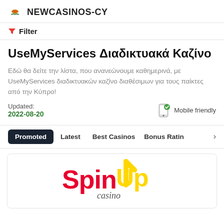NEWCASINOS-CY
Filter
UseMyServices Διαδικτυακά Καζίνο
Εδώ θα δείτε την λίστα, που ανανεώνουμε καθημερινά, με UseMyServices διαδικτυακών καζίνο διαθέσιμων για τους παίκτες από την Κύπρο!
Updated: 2022-08-20
Mobile friendly
Promoted Latest Best Casinos Bonus Rating
[Figure (logo): SpinUp Casino logo with red and yellow text]